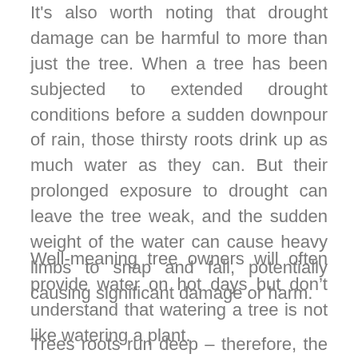It's also worth noting that drought damage can be harmful to more than just the tree. When a tree has been subjected to extended drought conditions before a sudden downpour of rain, those thirsty roots drink up as much water as they can. But their prolonged exposure to drought can leave the tree weak, and the sudden weight of the water can cause heavy limbs to snap and fall, potentially causing significant damage or harm.
Well-meaning tree owners will often provide water on hot days but don't understand that watering a tree is not like watering a plant.
Trees roots run deep – therefore, the water